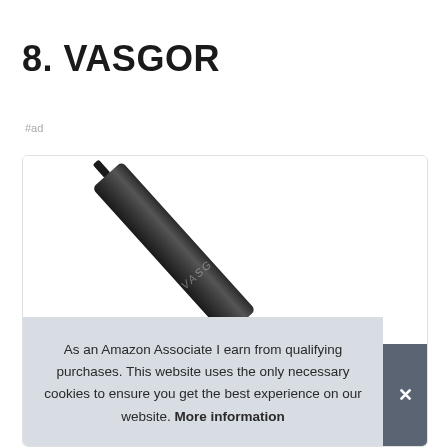8. VASGOR
#ad
[Figure (photo): A dark black pen (VASGOR branded) photographed diagonally against a white background inside a product card with rounded border.]
As an Amazon Associate I earn from qualifying purchases. This website uses the only necessary cookies to ensure you get the best experience on our website. More information